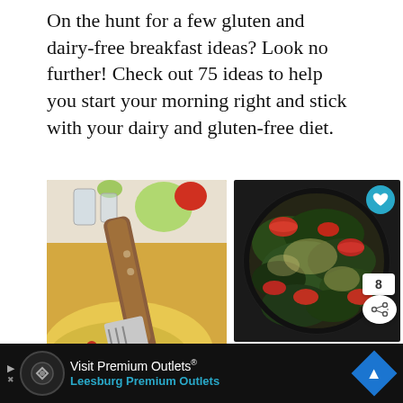On the hunt for a few gluten and dairy-free breakfast ideas? Look no further! Check out 75 ideas to help you start your morning right and stick with your dairy and gluten-free diet.
[Figure (photo): Two food photos side by side: left shows an omelette/frittata in a pan with a wooden-handled spatula, tomatoes and herbs; right shows a spinach and tomato frittata in a cast iron skillet with heart and share UI overlays, and a 'What's Next' panel showing a thumbnail and text 'Gluten and Dairy-free...']
25 Dairy and Gluten-free Breakfast Casseroles
St... he-free br... Za...
Visit Premium Outlets® Leesburg Premium Outlets